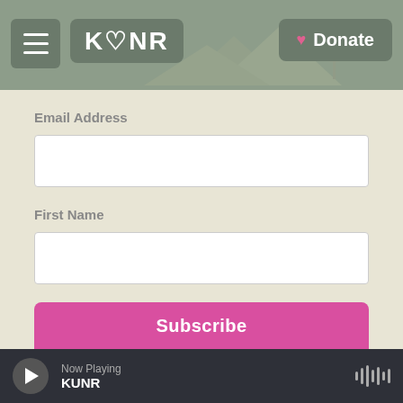KUNR — Donate button — Navigation header
Email Address
First Name
Newsletter Options
Weekday News Updates
Weekly News Roundup
Subscribe
Now Playing KUNR